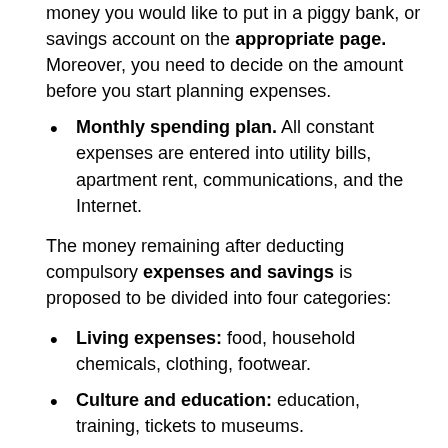money you would like to put in a piggy bank, or savings account on the appropriate page. Moreover, you need to decide on the amount before you start planning expenses.
Monthly spending plan. All constant expenses are entered into utility bills, apartment rent, communications, and the Internet.
The money remaining after deducting compulsory expenses and savings is proposed to be divided into four categories:
Living expenses: food, household chemicals, clothing, footwear.
Culture and education: education, training, tickets to museums.
Entertainment: meeting friends, going to the movies, short trips.